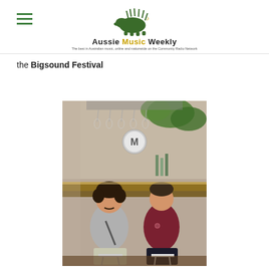Aussie Music Weekly — The best in Australian music, online and nationwide on the Community Radio Network
the Bigsound Festival
[Figure (photo): Two young men sitting on bar stools in front of a stylish bar with hanging glasses and green wall plants. One wears a grey t-shirt, the other a maroon t-shirt. A circular logo is visible above the bar.]